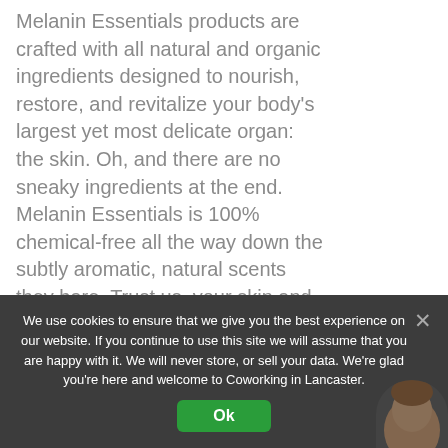Melanin Essentials products are crafted with all natural and organic ingredients designed to nourish, restore, and revitalize your body's largest yet most delicate organ: the skin. Oh, and there are no sneaky ingredients at the end. Melanin Essentials is 100% chemical-free all the way down the subtly aromatic, natural scents they bare. Trust us, your skin and body will thank you!
[Figure (screenshot): A 'Close' popup dismiss button with an X icon on the left, styled as a rounded pill/button, gray background]
[Figure (screenshot): A chat popup showing 'Message from Anne' with message 'Welcome to Coworking In Lancaster, how can we help you.' with an avatar of a woman, an accessibility icon (blue circle with person), and a green 'Reply to Anne' button]
Learn More
We use cookies to ensure that we give you the best experience on our website. If you continue to use this site we will assume that you are happy with it. We will never store, or sell your data. We're glad you're here and welcome to Coworking in Lancaster.
Ok